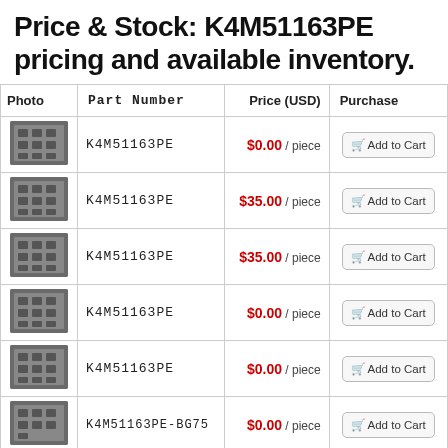Price & Stock: K4M51163PE pricing and available inventory.
| Photo | Part Number | Price (USD) | Purchase |
| --- | --- | --- | --- |
| [img] | K4M51163PE | $0.00 / piece | Add to Cart |
| [img] | K4M51163PE | $35.00 / piece | Add to Cart |
| [img] | K4M51163PE | $35.00 / piece | Add to Cart |
| [img] | K4M51163PE | $0.00 / piece | Add to Cart |
| [img] | K4M51163PE | $0.00 / piece | Add to Cart |
| [img] | K4M51163PE-BG75 | $0.00 / piece | Add to Cart |